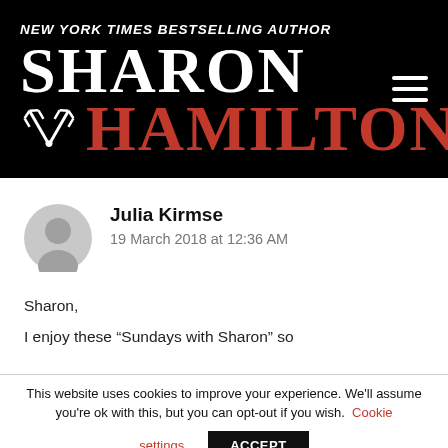[Figure (logo): Sharon Hamilton author website header banner with black background, white text 'NEW YORK TIMES BESTSELLING AUTHOR', large white 'SHARON' and large red 'HAMILTON' with crossed trident logo, and hamburger menu icon]
Julia Kirmse
19 March 2018 at 12:36 AM
Sharon,
I enjoy these “Sundays with Sharon” so
This website uses cookies to improve your experience. We'll assume you're ok with this, but you can opt-out if you wish. Cookie settings ACCEPT